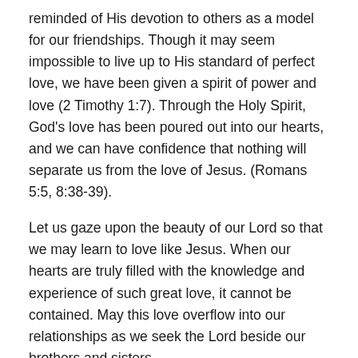reminded of His devotion to others as a model for our friendships. Though it may seem impossible to live up to His standard of perfect love, we have been given a spirit of power and love (2 Timothy 1:7). Through the Holy Spirit, God's love has been poured out into our hearts, and we can have confidence that nothing will separate us from the love of Jesus. (Romans 5:5, 8:38-39).
Let us gaze upon the beauty of our Lord so that we may learn to love like Jesus. When our hearts are truly filled with the knowledge and experience of such great love, it cannot be contained. May this love overflow into our relationships as we seek the Lord beside our brothers and sisters.
May the Lord make you increase and abound in love for one another and for all, as we do for you, so that he may establish your hearts blameless in